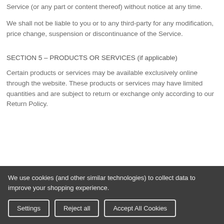Service (or any part or content thereof) without notice at any time.
We shall not be liable to you or to any third-party for any modification, price change, suspension or discontinuance of the Service.
SECTION 5 – PRODUCTS OR SERVICES (if applicable)
Certain products or services may be available exclusively online through the website. These products or services may have limited quantities and are subject to return or exchange only according to our Return Policy.
We use cookies (and other similar technologies) to collect data to improve your shopping experience.